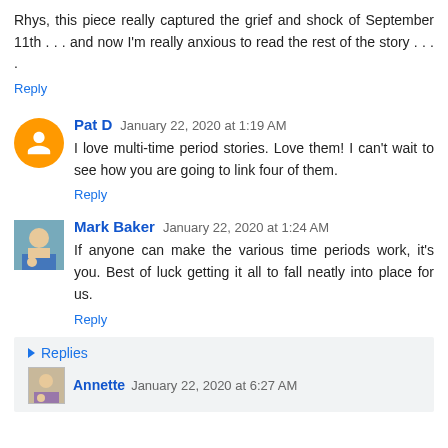Rhys, this piece really captured the grief and shock of September 11th . . . and now I'm really anxious to read the rest of the story . . . .
Reply
Pat D  January 22, 2020 at 1:19 AM
I love multi-time period stories. Love them! I can't wait to see how you are going to link four of them.
Reply
Mark Baker  January 22, 2020 at 1:24 AM
If anyone can make the various time periods work, it's you. Best of luck getting it all to fall neatly into place for us.
Reply
Replies
Annette  January 22, 2020 at 6:27 AM